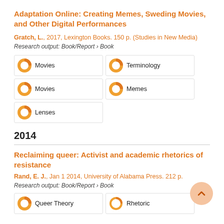Adaptation Online: Creating Memes, Sweding Movies, and Other Digital Performances
Gratch, L., 2017, Lexington Books. 150 p. (Studies in New Media)
Research output: Book/Report › Book
Movies
Terminology
Movies
Memes
Lenses
2014
Reclaiming queer: Activist and academic rhetorics of resistance
Rand, E. J., Jan 1 2014, University of Alabama Press. 212 p.
Research output: Book/Report › Book
Queer Theory
Rhetoric